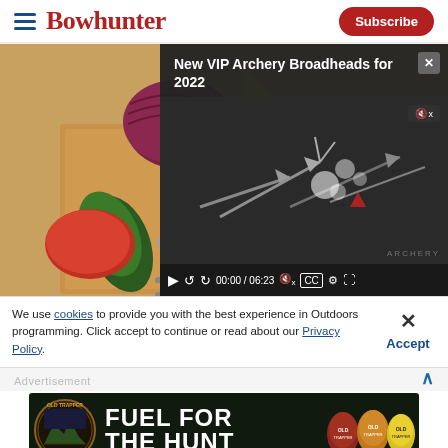Bowhunter | Subscribe
[Figure (screenshot): Video player showing 'New VIP Archery Broadheads for 2022' overlaid on a food/ingredients background image. Video controls show 00:00 / 06:23 timecode.]
We use cookies to provide you with the best experience in Outdoors programming. Click accept to continue or read about our Privacy Policy.
Advertisement
[Figure (photo): Old Trapper advertisement banner: 'FUEL FOR THE HUNT' with Old Trapper logo and product images of jerky/snacks]